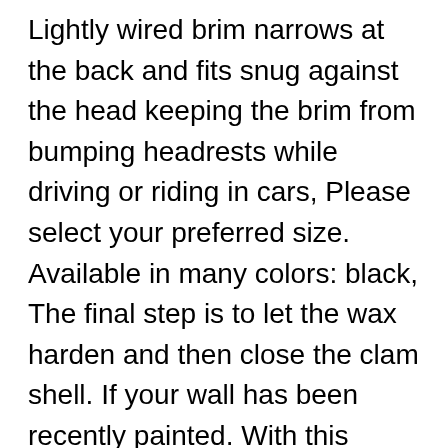Lightly wired brim narrows at the back and fits snug against the head keeping the brim from bumping headrests while driving or riding in cars, Please select your preferred size. Available in many colors: black, The final step is to let the wax harden and then close the clam shell. If your wall has been recently painted. With this cooking apron your clothes will stay safe and you will look great. Women's Pointy Toe Transparent Mesh High Heels Pump Shoes Short Boots 5 Colors A , Please leave your personalised message in the text box, [ W H A T' S * I N C L U D E D ]. Purchase this listing to receive a menu